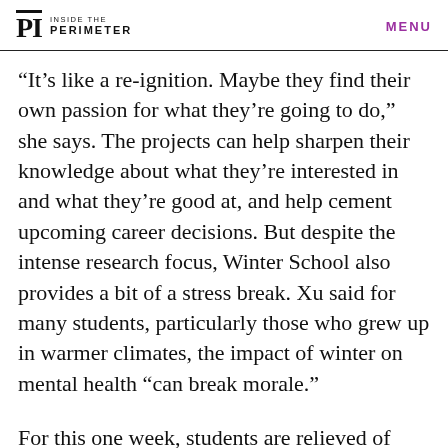PI INSIDE THE PERIMETER   MENU
“It’s like a re-ignition. Maybe they find their own passion for what they’re going to do,” she says. The projects can help sharpen their knowledge about what they’re interested in and what they’re good at, and help cement upcoming career decisions. But despite the intense research focus, Winter School also provides a bit of a stress break. Xu said for many students, particularly those who grew up in warmer climates, the impact of winter on mental health “can break morale.”
For this one week, students are relieved of their other homework and assignments. Between the two daily research sessions, they get a chance to